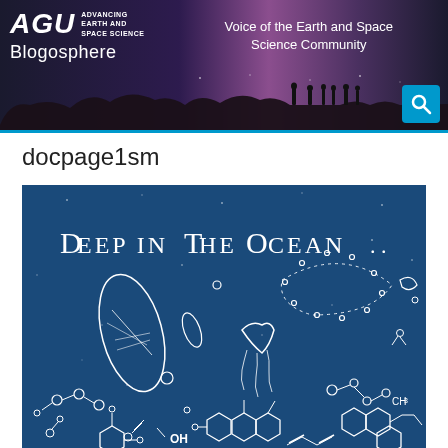AGU Blogosphere — Voice of the Earth and Space Science Community
docpage1sm
[Figure (illustration): Blue illustrated artwork titled 'DEEP IN THE OCEAN' showing hand-drawn marine organisms and chemical structures in white on a dark blue background, including diatoms, jellyfish, bioluminescent creatures, and chemical molecule diagrams including one labeled CH3]